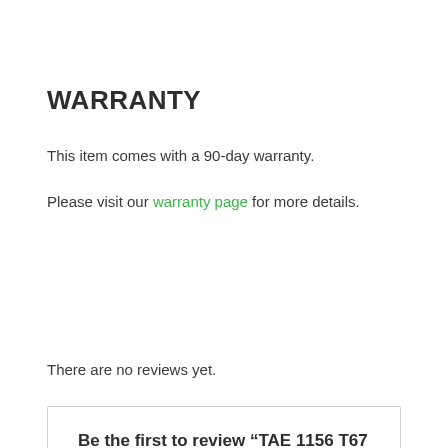WARRANTY
This item comes with a 90-day warranty.
Please visit our warranty page for more details.
There are no reviews yet.
Be the first to review “TAE 1156 T67 BA15S